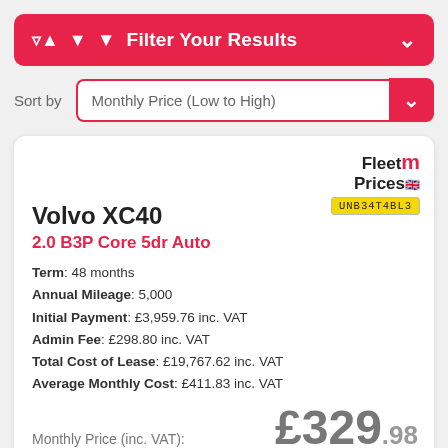Filter Your Results
Sort by  Monthly Price (Low to High)
Volvo XC40
2.0 B3P Core 5dr Auto
Term: 48 months
Annual Mileage: 5,000
Initial Payment: £3,959.76 inc. VAT
Admin Fee: £298.80 inc. VAT
Total Cost of Lease: £19,767.62 inc. VAT
Average Monthly Cost: £411.83 inc. VAT
Monthly Price (inc. VAT):  £329.98